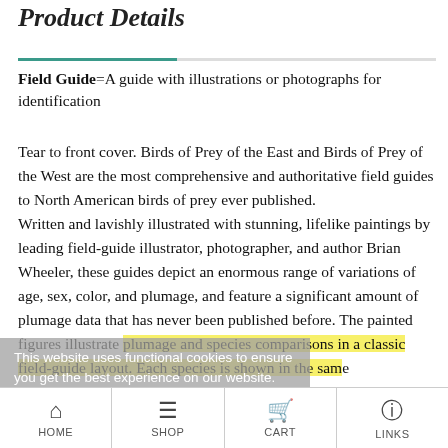Product Details
Field Guide=A guide with illustrations or photographs for identification
Tear to front cover. Birds of Prey of the East and Birds of Prey of the West are the most comprehensive and authoritative field guides to North American birds of prey ever published. Written and lavishly illustrated with stunning, lifelike paintings by leading field-guide illustrator, photographer, and author Brian Wheeler, these guides depict an enormous range of variations of age, sex, color, and plumage, and feature a significant amount of plumage data that has never been published before. The painted figures illustrate plumage and species comparisons in a classic field-guide layout. Each species is shown in the same
This website uses functional cookies to ensure you get the best experience on our website. Learn more
HOME  SHOP  CART  LINKS